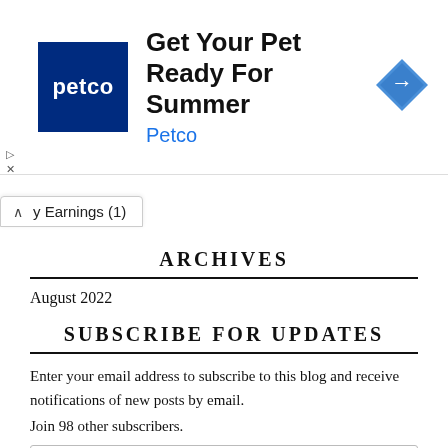[Figure (infographic): Petco advertisement banner: Petco logo (white text on dark blue background), headline 'Get Your Pet Ready For Summer', subtext 'Petco' in blue, blue diamond navigation arrow icon on right.]
y Earnings (1)
ARCHIVES
August 2022
SUBSCRIBE FOR UPDATES
Enter your email address to subscribe to this blog and receive notifications of new posts by email.
Join 98 other subscribers.
Email Address